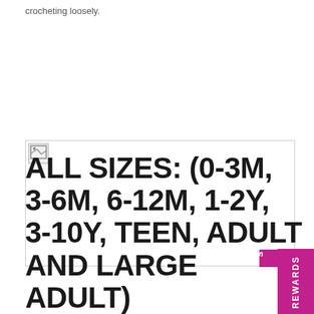crocheting loosely.
[Figure (other): Broken/unloaded image placeholder with a small icon in top-left corner, large white area, and a magenta REWARDS tab on the right side with an icon]
ALL SIZES: (0-3M, 3-6M, 6-12M, 1-2Y, 3-10Y, TEEN, ADULT AND LARGE ADULT)